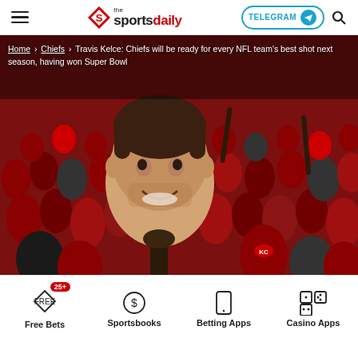the sportsdaily | TELEGRAM | Search
[Figure (photo): Kansas City Chiefs fans in red clothing at a winter game, one fan holding up a large Travis Kelce face cutout]
Home › Chiefs › Travis Kelce: Chiefs will be ready for every NFL team's best shot next season, having won Super Bowl
Free Bets 25+ | Sportsbooks | Betting Apps | Casino Apps